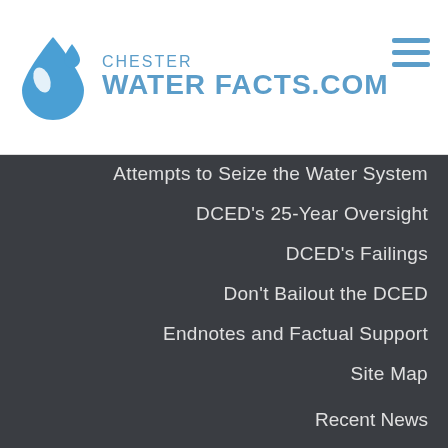[Figure (logo): Chester Water Facts.com logo with blue water drop icon and blue text]
Attempts to Seize the Water System
DCED's 25-Year Oversight
DCED's Failings
Don't Bailout the DCED
Endnotes and Factual Support
Site Map
Recent News
Get More Info
Events